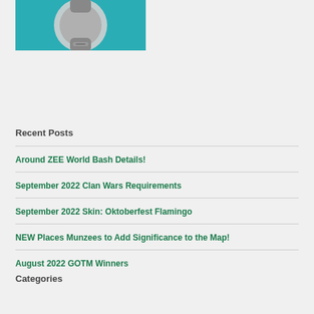[Figure (illustration): Partial image of a smartwatch on a teal/turquoise background, showing the watch band and partial face]
Recent Posts
Around ZEE World Bash Details!
September 2022 Clan Wars Requirements
September 2022 Skin: Oktoberfest Flamingo
NEW Places Munzees to Add Significance to the Map!
August 2022 GOTM Winners
Categories
ANNOUNCEMENTS